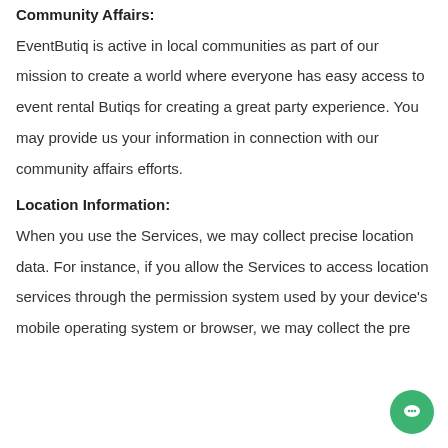Community Affairs:
EventButiq is active in local communities as part of our mission to create a world where everyone has easy access to event rental Butiqs for creating a great party experience. You may provide us your information in connection with our community affairs efforts.
Location Information:
When you use the Services, we may collect precise location data. For instance, if you allow the Services to access location services through the permission system used by your device's mobile operating system or browser, we may collect the pre...